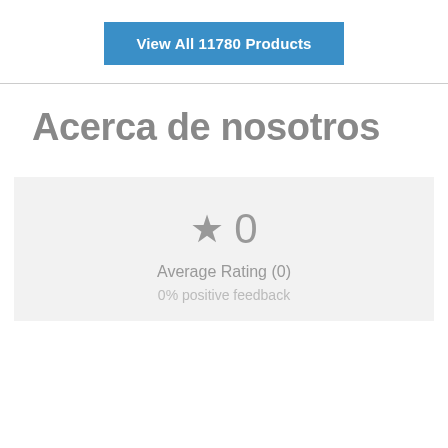View All 11780 Products
Acerca de nosotros
★ 0
Average Rating (0)
0% positive feedback